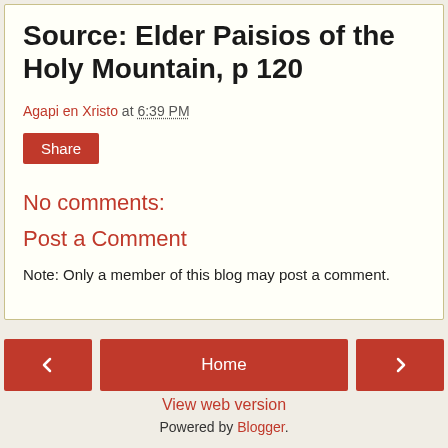Source: Elder Paisios of the Holy Mountain, p 120
Agapi en Xristo at 6:39 PM
Share
No comments:
Post a Comment
Note: Only a member of this blog may post a comment.
Home
View web version
Powered by Blogger.